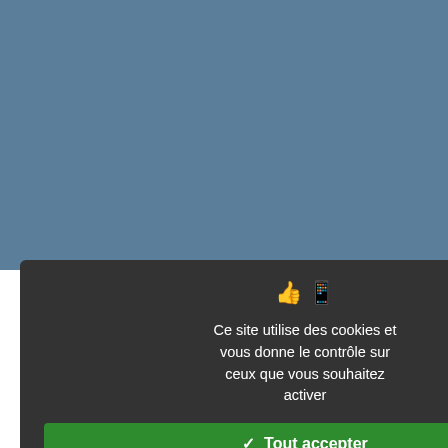DOI : 10.4324/9780203716649
Santos M., 1993, A urbanizaç... Hucitec, SP, Brasil.
Savin N. E., White K.,J., 1977, ... Extreme Sample Sizes or Many ... DOI : 10.2307/1914122
Schaffar A., 2012, "Les lois de Zi... Développement, 36, numéro spé...
Schaffar A., Dimou M., 2012, "R... Regional Studies, Vol.46, N°6, 7...
Vainer C., B., Brito F., 2001, '... XXIVth General Population Con... Population Salvador, Bahia, Braz...
Vaconcelos P., 2009, "Quest... GeoTextos, Vol.5, N°2, 147-157.
Notes
1   http://www.ibge.gov.br/home/geo...
Ce site utilise des cookies et vous donne le contrôle sur ceux que vous souhaitez activer
✓  Tout accepter
✗  Tout refuser
Personnaliser
Politique de confidentialité